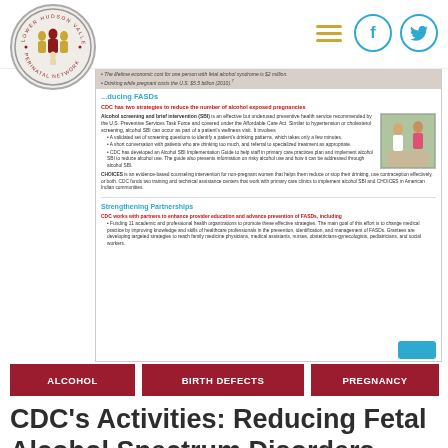[Figure (logo): Lower Hudson Valley Perinatal Network circular logo with figures]
Lower Hudson Valley Perinatal Network — navigation header with hamburger menu, Facebook and Twitter icons
[Figure (screenshot): Screenshot of CDC document about Reducing FASDs, showing sections on alcohol screening and brief intervention (SBI), CHOICES counseling intervention, and Strengthening Partnerships, with a photo of a healthcare provider and patient]
ALCOHOL
BIRTH DEFECTS
PREGNANCY
CDC's Activities: Reducing Fetal Alcohol Spectrum Disorders